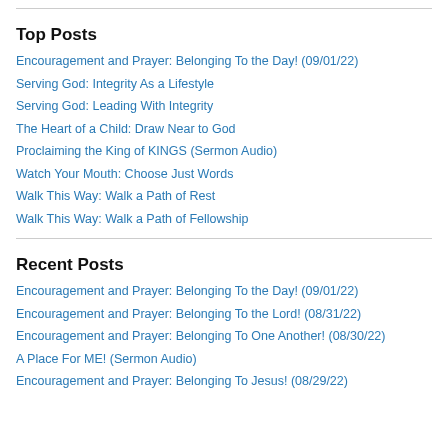Top Posts
Encouragement and Prayer: Belonging To the Day! (09/01/22)
Serving God: Integrity As a Lifestyle
Serving God: Leading With Integrity
The Heart of a Child: Draw Near to God
Proclaiming the King of KINGS (Sermon Audio)
Watch Your Mouth: Choose Just Words
Walk This Way: Walk a Path of Rest
Walk This Way: Walk a Path of Fellowship
Recent Posts
Encouragement and Prayer: Belonging To the Day! (09/01/22)
Encouragement and Prayer: Belonging To the Lord! (08/31/22)
Encouragement and Prayer: Belonging To One Another! (08/30/22)
A Place For ME! (Sermon Audio)
Encouragement and Prayer: Belonging To Jesus! (08/29/22)